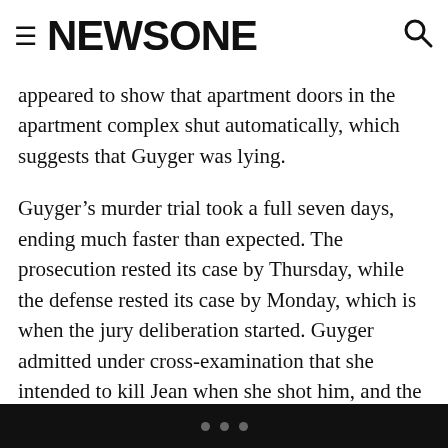NEWSONE
appeared to show that apartment doors in the apartment complex shut automatically, which suggests that Guyger was lying.
Guyger’s murder trial took a full seven days, ending much faster than expected. The prosecution rested its case by Thursday, while the defense rested its case by Monday, which is when the jury deliberation started. Guyger admitted under cross-examination that she intended to kill Jean when she shot him, and the former officer also admitted that she was trained in CPR but refrained from performing the life-saving technique on Jean after she shot him. Instead, the 911 call she made along with her actions following the incident suggested
• • •